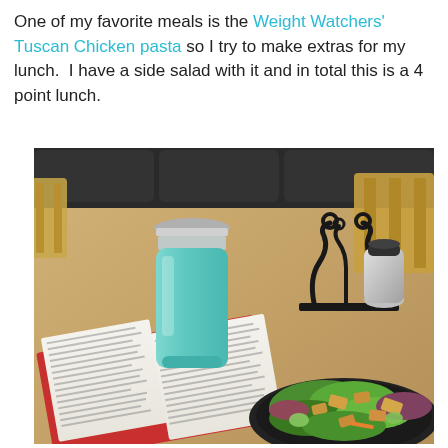One of my favorite meals is the Weight Watchers' Tuscan Chicken pasta so I try to make extras for my lunch.  I have a side salad with it and in total this is a 4 point lunch.
[Figure (photo): Photo of a restaurant table with an open book, a teal tumbler cup, a side salad with croutons and greens on a dark plate, and a decorative black metal condiment holder with a stainless steel creamer. Wooden chairs and dark booth seating visible in background.]